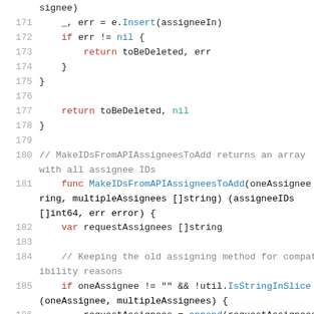signee)
171     _, err = e.Insert(assigneeIn)
172     if err != nil {
173         return toBeDeleted, err
174         }
175     }
176
177     return toBeDeleted, nil
178 }
179
180 // MakeIDsFromAPIAssigneesToAdd returns an array with all assignee IDs
181 func MakeIDsFromAPIAssigneesToAdd(oneAssignee string, multipleAssignees []string) (assigneeIDs []int64, err error) {
182     var requestAssignees []string
183
184     // Keeping the old assigning method for compatibility reasons
185     if oneAssignee != "" && !util.IsStringInSlice(oneAssignee, multipleAssignees) {
186         requestAssignees = append(requestAssignees,